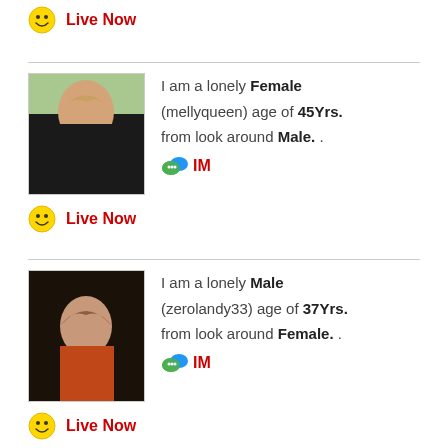Live Now
I am a lonely Female (mellyqueen) age of 45Yrs. from look around Male. . IM
Live Now
I am a lonely Male (zerolandy33) age of 37Yrs. from look around Female. . IM
Live Now
I am a lonely Male (Con)